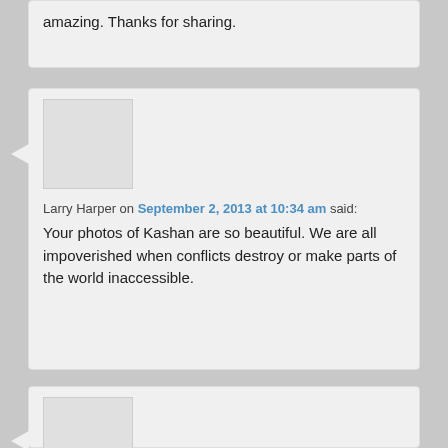amazing. Thanks for sharing.
[Figure (other): User avatar placeholder — light gray square]
Larry Harper on September 2, 2013 at 10:34 am said:
Your photos of Kashan are so beautiful. We are all impoverished when conflicts destroy or make parts of the world inaccessible.
[Figure (other): User avatar placeholder — light gray square]
simin on September 6, 2013 at 8:56 pm said: